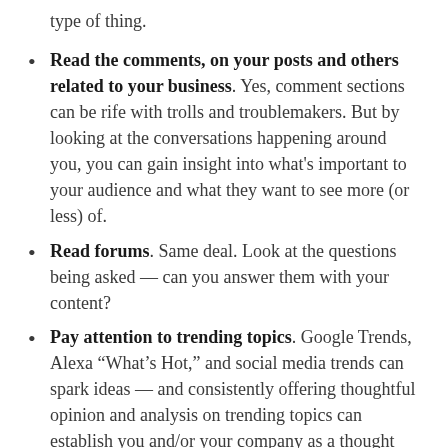type of thing.
Read the comments, on your posts and others related to your business. Yes, comment sections can be rife with trolls and troublemakers. But by looking at the conversations happening around you, you can gain insight into what's important to your audience and what they want to see more (or less) of.
Read forums. Same deal. Look at the questions being asked — can you answer them with your content?
Pay attention to trending topics. Google Trends, Alexa “What’s Hot,” and social media trends can spark ideas — and consistently offering thoughtful opinion and analysis on trending topics can establish you and/or your company as a thought leader, increasing your audience and authority.